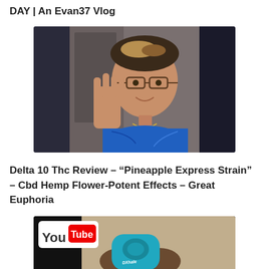DAY | An Evan37 Vlog
[Figure (photo): A young man wearing glasses and a blue graphic t-shirt with a chain necklace, raising his hand toward the camera in what appears to be a video vlog screenshot.]
Delta 10 Thc Review – “Pineapple Express Strain” – Cbd Hemp Flower-Potent Effects – Great Euphoria
[Figure (screenshot): A YouTube video thumbnail showing hands holding a teal/blue product with 'DXhale' branding, with the YouTube logo visible in the upper left corner.]